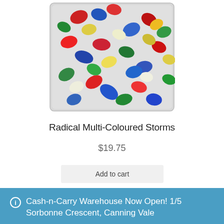[Figure (photo): A container filled with colorful multi-colored candy pieces (reds, blues, greens, yellows, whites) viewed from above]
Radical Multi-Coloured Storms
$19.75
Add to cart
Cash-n-Carry Warehouse Now Open! 1/5 Sorbonne Crescent, Canning Vale
Dismiss